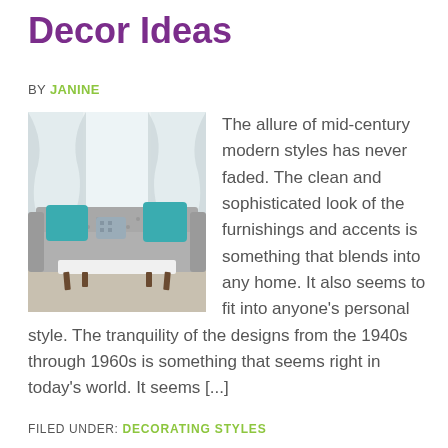Decor Ideas
BY JANINE
[Figure (photo): Living room with grey tufted sofa, teal/turquoise pillows, white bench coffee table, bright window with curtains]
The allure of mid-century modern styles has never faded. The clean and sophisticated look of the furnishings and accents is something that blends into any home. It also seems to fit into anyone's personal style. The tranquility of the designs from the 1940s through 1960s is something that seems right in today's world. It seems [...]
FILED UNDER: DECORATING STYLES